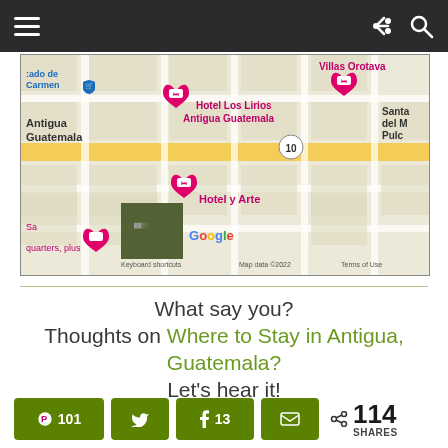Navigation bar with hamburger menu and share/search icons
[Figure (map): Google Maps screenshot showing Antigua Guatemala with hotel pins: Hotel Los Lirios Antigua Guatemala, Hotel y Arte, Villas Orotava, and other markers. Map data ©2022. Keyboard shortcuts. Terms of Use.]
What say you? Thoughts on Where to Stay in Antigua, Guatemala? Let's hear it!
101 Pinterest shares, Twitter share button, 13 Facebook shares, Email share button. Total: 114 SHARES